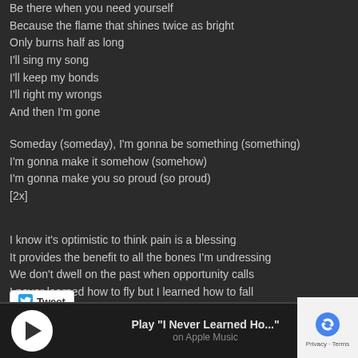Be there when you need yourself
Because the flame that shines twice as bright
Only burns half as long
I'll sing my song
I'll keep my bonds
I'll right my wrongs
And then I'm gone
Someday (someday), I'm gonna be something (something)
I'm gonna make it somehow (somehow)
I'm gonna make you so proud (so proud)
[2x]
I know it's optimistic to think pain is a blessing
It provides the benefit to all the bones I'm undressing
We don't dwell on the past when opportunity calls
I never learned how to fly but I learned how to fall
[Figure (other): Tweet button with Twitter bird icon]
[Figure (other): Apple Music player bar with play button showing 'Play "I Never Learned Ho..."' on Apple Music, and a reCAPTCHA logo in the bottom right corner]